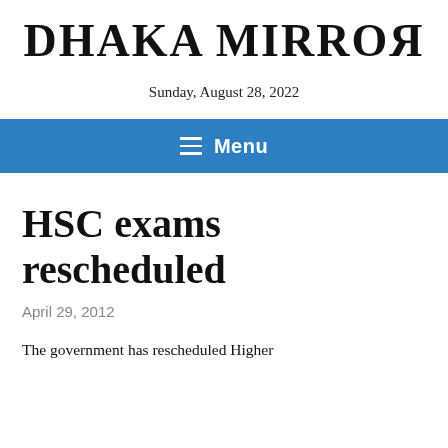DHAKA MIRROR
Sunday, August 28, 2022
≡ Menu
HSC exams rescheduled
April 29, 2012
The government has rescheduled Higher